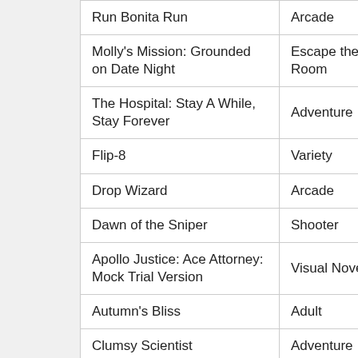| Game Title | Genre |
| --- | --- |
| Run Bonita Run | Arcade |
| Molly's Mission: Grounded on Date Night | Escape the Room |
| The Hospital: Stay A While, Stay Forever | Adventure |
| Flip-8 | Variety |
| Drop Wizard | Arcade |
| Dawn of the Sniper | Shooter |
| Apollo Justice: Ace Attorney: Mock Trial Version | Visual Novel |
| Autumn's Bliss | Adult |
| Clumsy Scientist | Adventure |
| Youda Jewel Shop (Demo) | Simulation |
| Grow Nano 3 (Hacked) | Adventure |
| Side Shot Booster | Arcade |